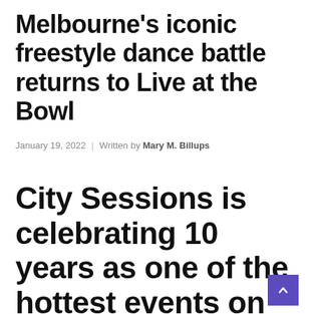Melbourne's iconic freestyle dance battle returns to Live at the Bowl
January 19, 2022  |  Written by Mary M. Billups
City Sessions is celebrating 10 years as one of the hottest events on the Melbourne dance